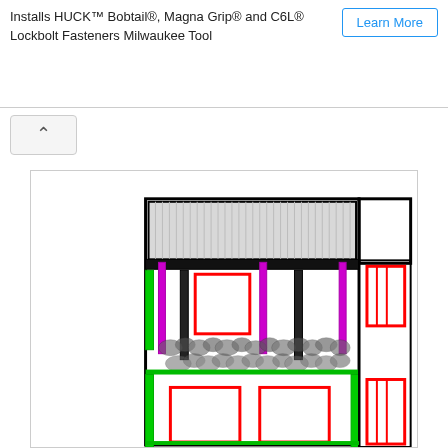Installs HUCK™ Bobtail®, Magna Grip® and C6L® Lockbolt Fasteners Milwaukee Tool
Learn More
[Figure (engineering-diagram): Technical engineering cross-section diagram of a building facade or structure showing colored structural components: grey hatched roof/header section, black horizontal beams, magenta/pink vertical columns, green vertical elements on sides, red rectangular window/door openings, and decorative foliage/landscaping elements along a horizontal band. The diagram shows a front elevation view with multiple bays.]